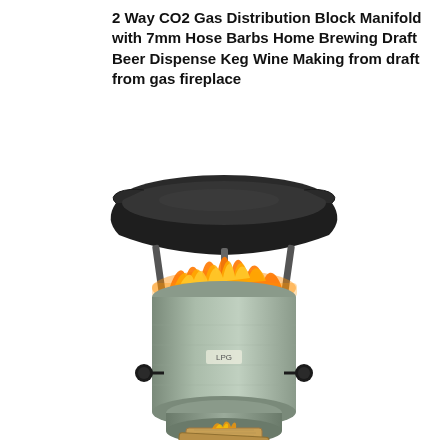2 Way CO2 Gas Distribution Block Manifold with 7mm Hose Barbs Home Brewing Draft Beer Dispense Keg Wine Making from draft from gas fireplace
[Figure (photo): A rocket stove / biomass burner with a large dark wok or pot sitting on top, orange flames visible between the pot and the cylindrical metal stove body, two side knobs on the stove, and wooden fuel pieces inserted at the bottom.]